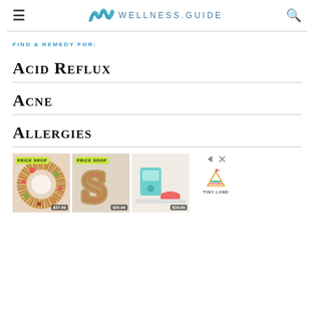WELLNESS.GUIDE
FIND A REMEDY FOR:
Acid Reflux
Acne
Allergies
[Figure (other): Advertisement showing three product images with PRICE DROP badges and prices $37.99, $20.99, $19.99, with Tiny Land logo]